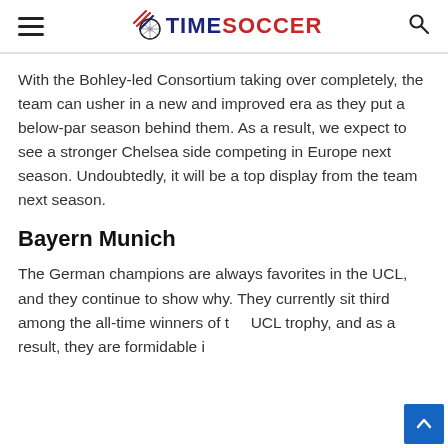TIMESOCCER
With the Bohley-led Consortium taking over completely, the team can usher in a new and improved era as they put a below-par season behind them. As a result, we expect to see a stronger Chelsea side competing in Europe next season. Undoubtedly, it will be a top display from the team next season.
Bayern Munich
The German champions are always favorites in the UCL, and they continue to show why. They currently sit third among the all-time winners of the UCL trophy, and as a result, they are formidable in